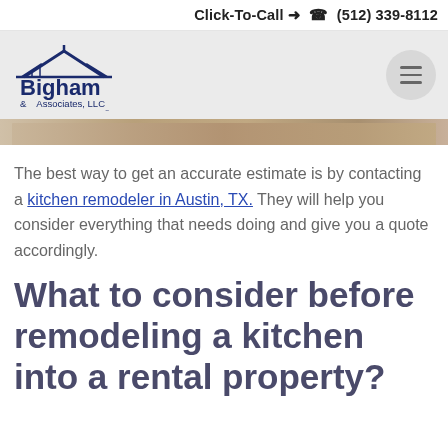Click-To-Call → ☎ (512) 339-8112
[Figure (logo): Bigham & Associates, LLC REALTORS logo with house icon]
[Figure (photo): Partial kitchen photo image strip]
The best way to get an accurate estimate is by contacting a kitchen remodeler in Austin, TX. They will help you consider everything that needs doing and give you a quote accordingly.
What to consider before remodeling a kitchen into a rental property?